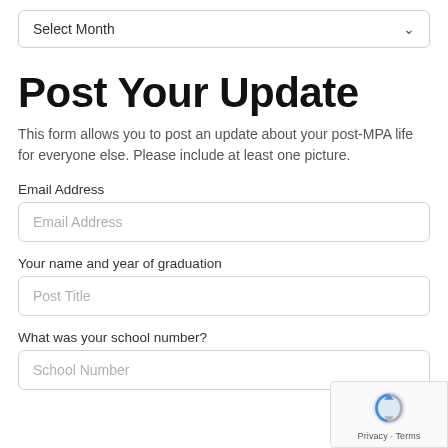[Figure (screenshot): Dropdown selector showing 'Select Month' with a chevron arrow on the right]
Post Your Update
This form allows you to post an update about your post-MPA life for everyone else. Please include at least one picture.
Email Address
Email Address (placeholder input field)
Your name and year of graduation
Post Title (placeholder input field)
What was your school number?
School Number (placeholder input field)
[Figure (logo): reCAPTCHA badge with logo and Privacy - Terms links]